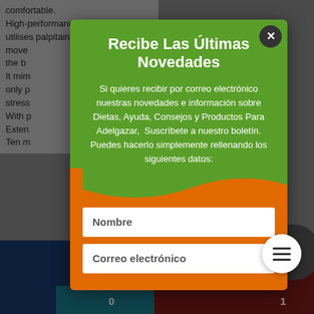[Figure (screenshot): Background page with gray content area showing partial English text about a high-performance device, dark blue and dark red colored bottom sections, and a circular element on the right side.]
Recibe Las Últimas Novedades
Si quieres recibir por correo electrónico nuestras novedades e información sobre Dietas, Ayuda, Consejos y Productos Para Adelgazar, Suscríbete a nuestro boletín. Puedes hacerlo simplemente rellenando los siguientes datos:
Nombre
Correo electrónico